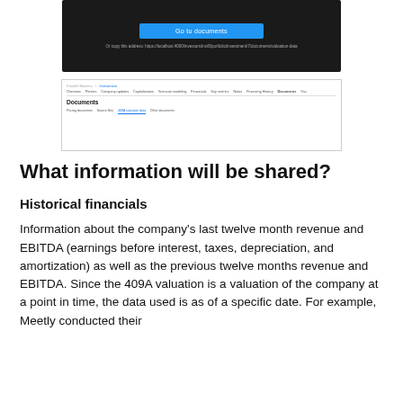[Figure (screenshot): Screenshot of a dark UI with a blue 'Go to documents' button and a copy address URL below it]
[Figure (screenshot): Screenshot of a web browser showing a financial platform page with navigation tabs including Overview, Pitches, Company updates, Capitalization, Scenario modeling, Financials, Key metrics, Notes, Financing History, Documents, and a Documents section with sub-tabs including Pricing documents, Source files, 409A valuation data, Other documents]
What information will be shared?
Historical financials
Information about the company's last twelve month revenue and EBITDA (earnings before interest, taxes, depreciation, and amortization) as well as the previous twelve months revenue and EBITDA. Since the 409A valuation is a valuation of the company at a point in time, the data used is as of a specific date. For example, Meetly conducted their